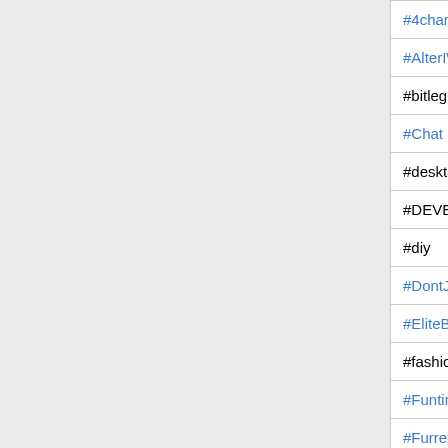| Channel | Users | Description |
| --- | --- | --- |
| #4chan | 250 | Official 4... as that s... |
| #AlterIWNet |  |  |
| #bitlegend | 40 | http://bitl... |
| #Chat | 190 | Officially... Rizon ch... |
| #desktopthread | 15 | I miss th... http://des... |
| #DEVELOPERS | 35 | Coding a... |
| #diy |  | https://si... |
| #DontJoinItsATrap |  | The nam... |
| #EliteBNC | 55 | EliteBNC... |
| #fashion | 15 | Take a g... |
| #Funtime | 60 | Channel... |
| #Furret | 25 | Pokemon... |
| #Hawkee |  | Hawkee... |
| #Help |  | Rizon IR... |